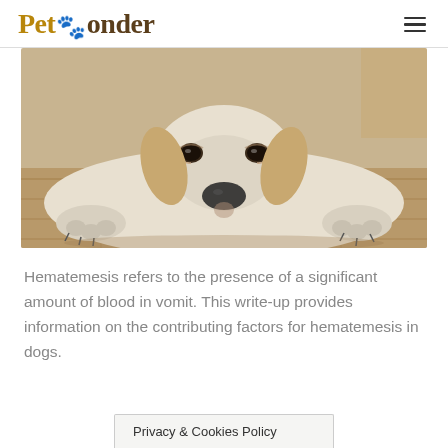PetPonder
[Figure (photo): A white and tan dog lying flat on a wooden floor, face resting forward, paws stretched out, looking at the camera with droopy eyes.]
Hematemesis refers to the presence of a significant amount of blood in vomit. This write-up provides information on the contributing factors for hematemesis in dogs.
Privacy & Cookies Policy